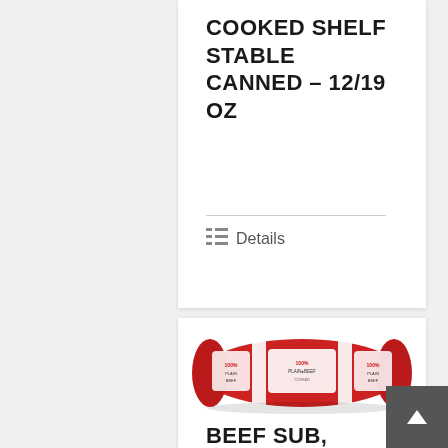COOKED SHELF STABLE CANNED – 12/19 OZ
Details
[Figure (photo): A red cylindrical roll of beef product with white stripe branding labels, resembling a beef log or chub]
BEEF SUB,